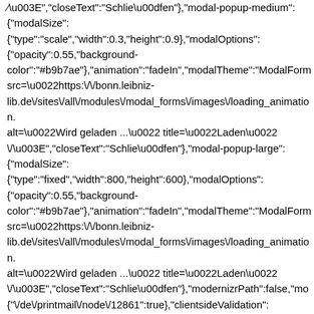\u003E","closeText":"Schlie\u00dfen"},"modal-popup-medium": {"modalSize": {"type":"scale","width":0.3,"height":0.9},"modalOptions": {"opacity":0.55,"background-color":"#b9b7ae"},"animation":"fadeIn","modalTheme":"ModalForm src=\u0022https:\/\/bonn.leibniz-lib.de\/sites\/all\/modules\/modal_forms\/images\/loading_animation. alt=\u0022Wird geladen ...\u0022 title=\u0022Laden\u0022 \/\u003E","closeText":"Schlie\u00dfen"},"modal-popup-large": {"modalSize": {"type":"fixed","width":800,"height":600},"modalOptions": {"opacity":0.55,"background-color":"#b9b7ae"},"animation":"fadeIn","modalTheme":"ModalForm src=\u0022https:\/\/bonn.leibniz-lib.de\/sites\/all\/modules\/modal_forms\/images\/loading_animation. alt=\u0022Wird geladen ...\u0022 title=\u0022Laden\u0022 \/\u003E","closeText":"Schlie\u00dfen"},"modernizrPath":false,"mo {"\de\/printmail\/node\/12861":true},"clientsideValidation": {"forms":{"print-mail-form":{"errorPlacement":"5","general": {"errorClass":"error","wrapper":"li","validateTabs":0,"scrollTo":1,"s {"fld_from_addr":{"required":true,"messages":{"required":"Das Feld Ihre E-Mail-Adresse ist erforderlich.","maxlength":"Ihre E-Mail-Adresse muss weniger als 128 Werte enthalten."},"maxlength":128},"fld_from_name": {"maxlength":128,"messages":{"maxlength":"Ihr Name muss weniger als 128 Werte enthalten."}}}"state":["dd"]